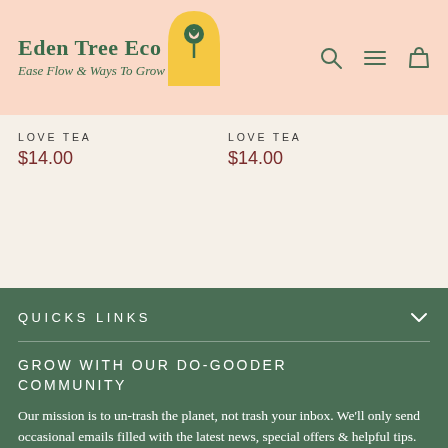[Figure (logo): Eden Tree Eco logo with yellow arch/mushroom icon. Text: Eden Tree Eco, tagline: Ease Flow & Ways To Grow]
[Figure (illustration): Header navigation icons: search (magnifying glass), menu (hamburger), and cart (shopping bag) icons in dark green outline style]
LOVE TEA
$14.00
LOVE TEA
$14.00
QUICKS LINKS
GROW WITH OUR DO-GOODER COMMUNITY
Our mission is to un-trash the planet, not trash your inbox. We'll only send occasional emails filled with the latest news, special offers & helpful tips.